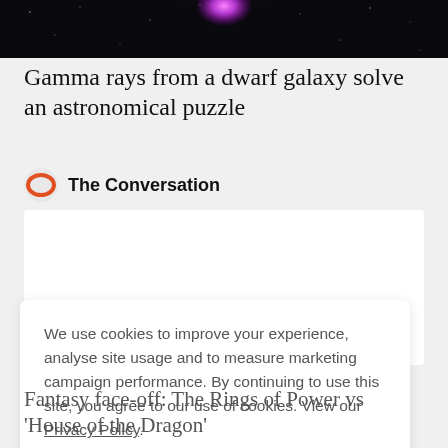[Figure (photo): Dark space background with a bright purple/pink glowing celestial object, likely a dwarf galaxy or nebula, centered at the top of the image.]
Gamma rays from a dwarf galaxy solve an astronomical puzzle
The Conversation
[Figure (other): White advertisement/content placeholder box]
We use cookies to improve your experience, analyse site usage and to measure marketing campaign performance. By continuing to use this site, you agree to our use of cookies. View our Privacy Policy.
ACCEPT
Fantasy face-off: The Rings of Power vs 'House of the Dragon'